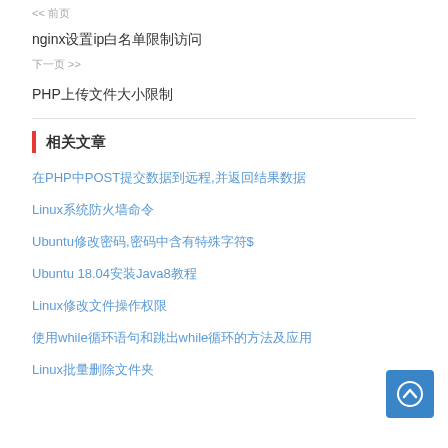<< 前页
nginx设置ip白名单限制访问
下一页 >>
PHP上传文件大小限制
相关文章
在PHP中POST提交数据到远程,并返回结果数据
Linux系统防火墙命令
Ubuntu修改密码,密码中含有特殊字符$
Ubuntu 18.04安装Java8教程
Linux修改文件操作权限
使用while循环语句和跳出while循环的方法及应用
Linux批量删除文件夹
...